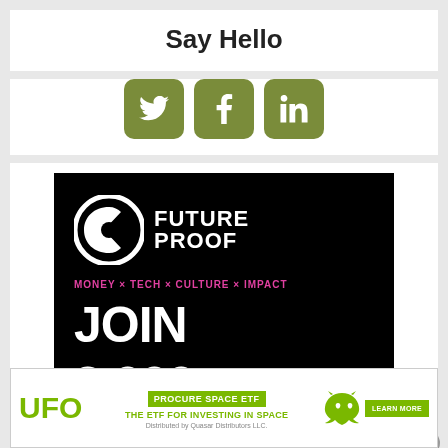Say Hello
[Figure (illustration): Three social media icon buttons (Twitter, Facebook, LinkedIn) in olive/dark yellow-green color with rounded corners]
[Figure (illustration): Future Proof advertisement: black background with white circular logo, FUTURE PROOF text, pink tagline MONEY x TECH x CULTURE x IMPACT, white bold text JOIN 3,000+ INVESTORS]
[Figure (illustration): UFO Procure Space ETF advertisement banner: UFO in green text, PROCURE SPACE ETF green badge, THE ETF FOR INVESTING IN SPACE tagline, Distributed by Quasar Distributors LLC., dragon logo, LEARN MORE button]